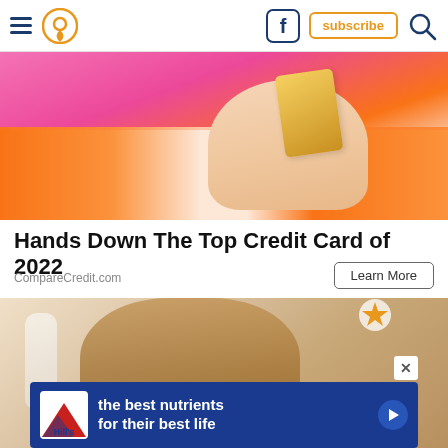Navigation header with hamburger menu, location pin icon, Facebook icon, subscribe button, search icon
[Figure (photo): Woman in orange and pink striped shirt holding a credit card against a pink background]
Hands Down The Top Credit Card of 2022
CompareCredit.com
Learn More
[Figure (photo): Woman with blonde hair drinking from a white bottle, with a Hill's pet nutrition advertisement banner overlay reading 'the best nutrients for their best life']